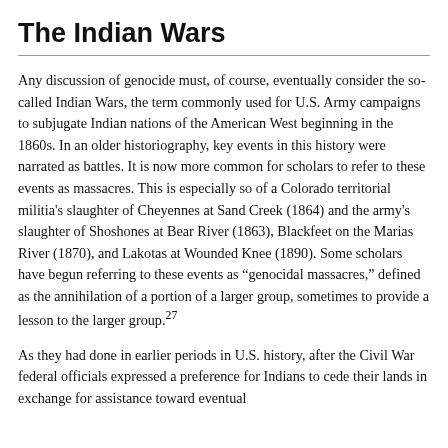The Indian Wars
Any discussion of genocide must, of course, eventually consider the so-called Indian Wars, the term commonly used for U.S. Army campaigns to subjugate Indian nations of the American West beginning in the 1860s. In an older historiography, key events in this history were narrated as battles. It is now more common for scholars to refer to these events as massacres. This is especially so of a Colorado territorial militia's slaughter of Cheyennes at Sand Creek (1864) and the army's slaughter of Shoshones at Bear River (1863), Blackfeet on the Marias River (1870), and Lakotas at Wounded Knee (1890). Some scholars have begun referring to these events as “genocidal massacres,” defined as the annihilation of a portion of a larger group, sometimes to provide a lesson to the larger group.²⁷
As they had done in earlier periods in U.S. history, after the Civil War federal officials expressed a preference for Indians to cede their lands in exchange for assistance toward eventual